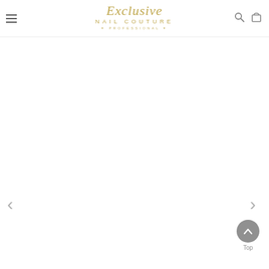[Figure (logo): Exclusive Nail Couture Professional logo with gold/tan script and sans-serif text]
[Figure (screenshot): Website page with navigation header including hamburger menu, logo, search and cart icons; navigation arrows on left and right sides; back-to-top button in lower right; main content area is blank/white]